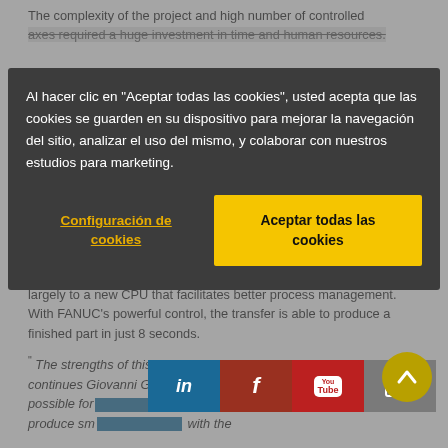The complexity of the project and high number of controlled axes required a huge investment in time and human resources.
Al hacer clic en "Aceptar todas las cookies", usted acepta que las cookies se guarden en su dispositivo para mejorar la navegación del sitio, analizar el uso del mismo, y colaborar con nuestros estudios para marketing.
Configuración de cookies
Aceptar todas las cookies
largely to a new CPU that facilitates better process management. With FANUC's powerful control, the transfer is able to produce a finished part in just 8 seconds.
"The strengths of this system are flexibility and integration", continues Giovanni Gualce. Flexibility, because machining is possible for... customer can also produce small... with the
[Figure (screenshot): Social media share bar with LinkedIn, Facebook, YouTube, and email icons]
[Figure (other): Yellow circular scroll-to-top button with upward chevron arrow]